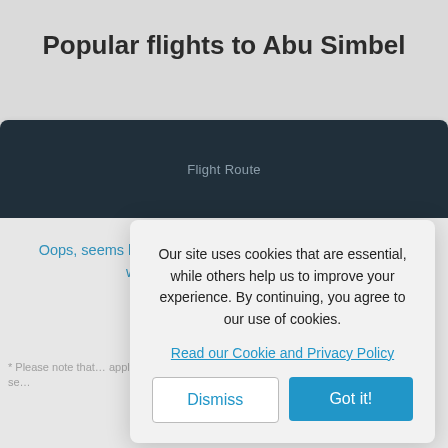Popular flights to Abu Simbel
[Figure (screenshot): Dark navy header bar labeled 'Flight Route']
Oops, seems like no one's been looking around. Let's see what flights are available here.
* Please note that … apply over peak se…
Our site uses cookies that are essential, while others help us to improve your experience. By continuing, you agree to our use of cookies.
Read our Cookie and Privacy Policy
Dismiss
Got it!